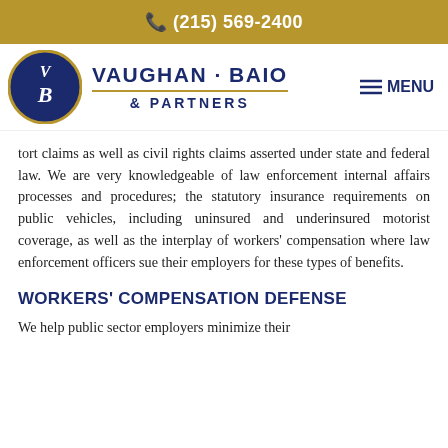(215) 569-2400
[Figure (logo): Vaughan Baio & Partners law firm logo with circular navy blue emblem containing VB initials and firm name]
tort claims as well as civil rights claims asserted under state and federal law. We are very knowledgeable of law enforcement internal affairs processes and procedures; the statutory insurance requirements on public vehicles, including uninsured and underinsured motorist coverage, as well as the interplay of workers' compensation where law enforcement officers sue their employers for these types of benefits.
WORKERS' COMPENSATION DEFENSE
We help public sector employers minimize their